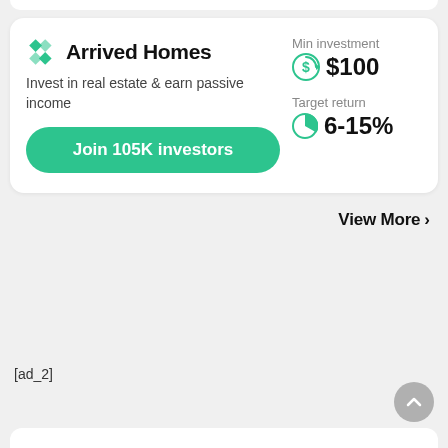[Figure (logo): Arrived Homes teal diamond/chevron logo icon]
Arrived Homes
Invest in real estate & earn passive income
Join 105K investors
Min investment
$100
Target return
6-15%
View More ›
[ad_2]